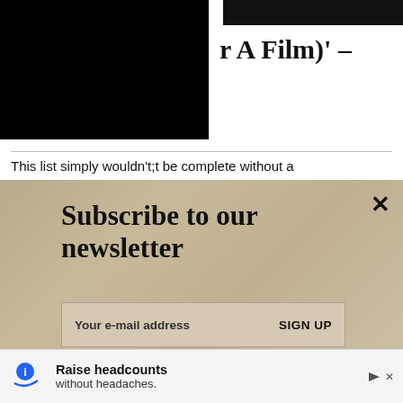[Figure (photo): Partially visible page header with black image blocks on the left and top-right, and partial bold title text reading 'r A Film)' – visible on the right side]
This list simply wouldn't;t be complete without a
[Figure (infographic): Newsletter subscription overlay on a sandy textured background. Heading: 'Subscribe to our newsletter'. Input field placeholder: 'Your e-mail address'. Button: 'SIGN UP'. Close X button in top right.]
was 13 and I cried my eyes out," noted Yorke. "I couldn't understand why, the morning after they __ they didn't just run away. The s
[Figure (infographic): Indeed advertisement banner: logo with curved underline graphic, 'Raise headcounts without headaches.' tagline, with close X button.]